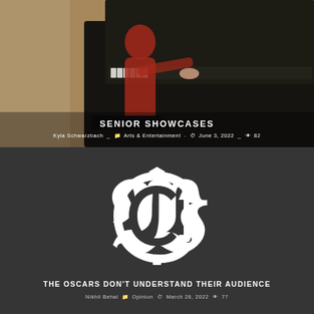[Figure (photo): Photo of a woman in a red dress playing a grand piano on stage, overlaid with article metadata]
SENIOR SHOWCASES
Kyla Schwarzbach  Arts & Entertainment  June 3, 2022  82
[Figure (logo): Gothic letter C logo (newspaper masthead logo) on dark gray background]
THE OSCARS DON'T UNDERSTAND THEIR AUDIENCE
Nikhil Behal  Opinion  March 26, 2022  77